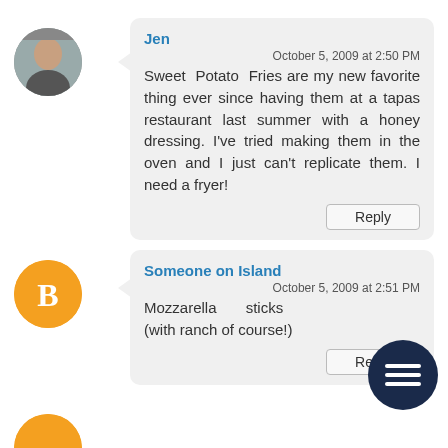[Figure (illustration): Avatar photo of commenter Jen - person photo in circle]
Jen
October 5, 2009 at 2:50 PM
Sweet Potato Fries are my new favorite thing ever since having them at a tapas restaurant last summer with a honey dressing. I've tried making them in the oven and I just can't replicate them. I need a fryer!
Reply
[Figure (logo): Orange circle avatar with blogger B logo for Someone on Island]
Someone on Island
October 5, 2009 at 2:51 PM
Mozzarella sticks (with ranch of course!)
[Figure (illustration): Dark navy circle with three horizontal lines (hamburger menu icon)]
Reply